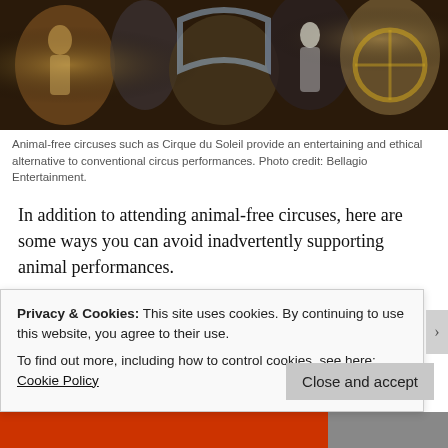[Figure (photo): Performers from Cirque du Soleil, an animal-free circus, shown in colorful costumes on a stage.]
Animal-free circuses such as Cirque du Soleil provide an entertaining and ethical alternative to conventional circus performances. Photo credit: Bellagio Entertainment.
In addition to attending animal-free circuses, here are some ways you can avoid inadvertently supporting animal performances.
Only visit AZA accredited zoos and aquariums (or EAZA accredited if you are in Europe). Many roadside zoos, animal theme parks, and petting zoos lack the space, equipment, or funding to properly care for their animals.
Privacy & Cookies: This site uses cookies. By continuing to use this website, you agree to their use.
To find out more, including how to control cookies, see here: Cookie Policy